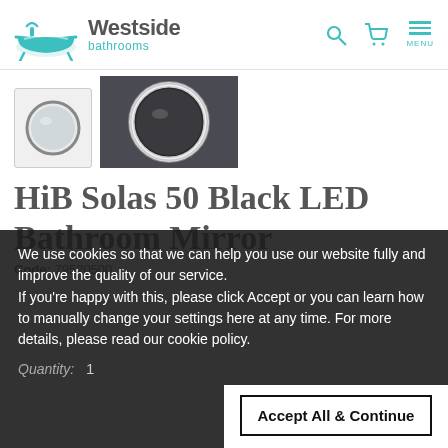Westside bathrooms
[Figure (photo): Product thumbnail images of HiB Solas 50 Black LED Bathroom Mirror — small round mirror thumbnail and larger lit oval mirror photo]
HiB Solas 50 Black LED Bathroom Mirror
Code: 79520500
We use cookies so that we can help you use our website fully and improve the quality of our service. If you're happy with this, please click Accept or you can learn how to manually change your settings here at any time. For more details, please read our cookie policy.
Quantity: 1
Accept All & Continue